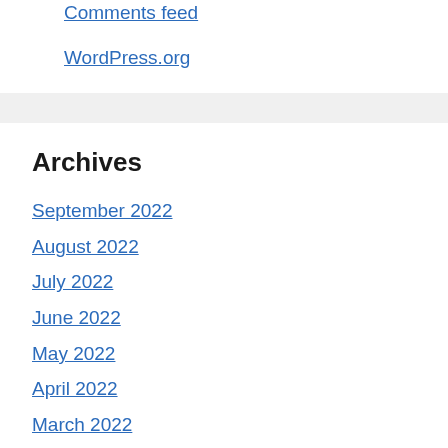Comments feed
WordPress.org
Archives
September 2022
August 2022
July 2022
June 2022
May 2022
April 2022
March 2022